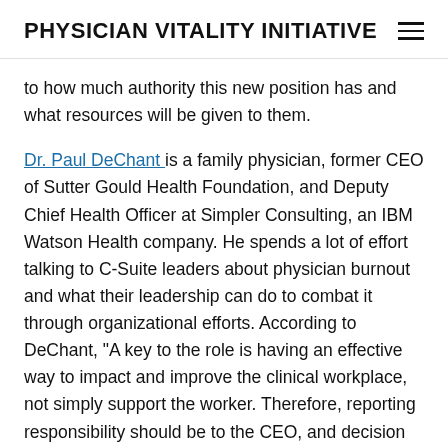PHYSICIAN VITALITY INITIATIVE
to how much authority this new position has and what resources will be given to them.
Dr. Paul DeChant is a family physician, former CEO of Sutter Gould Health Foundation, and Deputy Chief Health Officer at Simpler Consulting, an IBM Watson Health company. He spends a lot of effort talking to C-Suite leaders about physician burnout and what their leadership can do to combat it through organizational efforts. According to DeChant, "A key to the role is having an effective way to impact and improve the clinical workplace, not simply support the worker. Therefore, reporting responsibility should be to the CEO, and decision authority should be on par with the